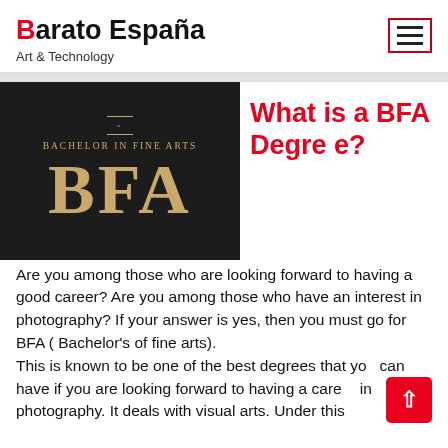Barato España — Art & Technology
[Figure (photo): Dark background image showing 'BACHELOR IN FINE ARTS' text and large 'BFA' letters in gold/tan serif font]
What is a BFA Degree?
Are you among those who are looking forward to having a good career? Are you among those who have an interest in photography? If your answer is yes, then you must go for BFA ( Bachelor's of fine arts). This is known to be one of the best degrees that you can have if you are looking forward to having a career in photography. It deals with visual arts. Under this